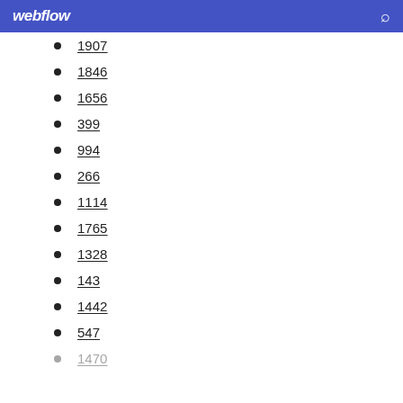webflow
1907
1846
1656
399
994
266
1114
1765
1328
143
1442
547
1470